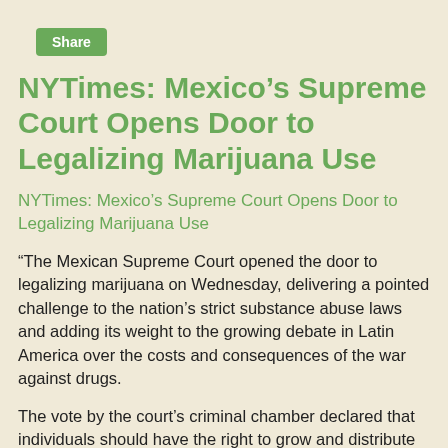Share
NYTimes: Mexico’s Supreme Court Opens Door to Legalizing Marijuana Use
NYTimes: Mexico’s Supreme Court Opens Door to Legalizing Marijuana Use
“The Mexican Supreme Court opened the door to legalizing marijuana on Wednesday, delivering a pointed challenge to the nation’s strict substance abuse laws and adding its weight to the growing debate in Latin America over the costs and consequences of the war against drugs.
The vote by the court’s criminal chamber declared that individuals should have the right to grow and distribute marijuana for their personal use. The ruling is a first step — applying only to a single cannabis club that brought the suit — and does not strike down Mexico’s current drug laws. But it lays the groundwork for a process of legalization that could